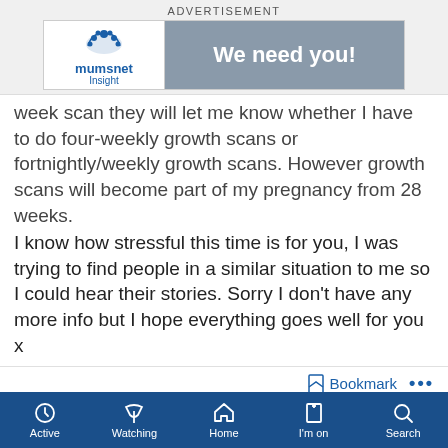ADVERTISEMENT
[Figure (logo): Mumsnet Insight advertisement banner with logo on left and 'We need you!' text on grey background]
week scan they will let me know whether I have to do four-weekly growth scans or fortnightly/weekly growth scans. However growth scans will become part of my pregnancy from 28 weeks.
I know how stressful this time is for you, I was trying to find people in a similar situation to me so I could hear their stories. Sorry I don't have any more info but I hope everything goes well for you x
Bookmark ...
CharlotteFM · 31/08/2019 07:42